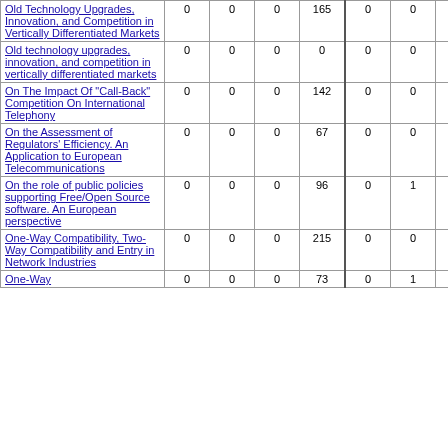| Title |  |  |  |  |  |  |  |  |
| --- | --- | --- | --- | --- | --- | --- | --- | --- |
| Old Technology Upgrades, Innovation, and Competition in Vertically Differentiated Markets | 0 | 0 | 0 | 165 | 0 | 0 | 4 | 155 |
| Old technology upgrades, innovation, and competition in vertically differentiated markets | 0 | 0 | 0 | 0 | 0 | 0 | 5 | 16 |
| On The Impact Of "Call-Back" Competition On International Telephony | 0 | 0 | 0 | 142 | 0 | 0 | 0 | 968 |
| On the Assessment of Regulators' Efficiency. An Application to European Telecommunications | 0 | 0 | 0 | 67 | 0 | 0 | 0 | 173 |
| On the role of public policies supporting Free/Open Source software. An European perspective | 0 | 0 | 0 | 96 | 0 | 1 | 3 | 264 |
| One-Way Compatibility, Two-Way Compatibility and Entry in Network Industries | 0 | 0 | 0 | 215 | 0 | 0 | 4 | 561 |
| One-Way | 0 | 0 | 0 | 73 | 0 | 1 | 6 | 316 |